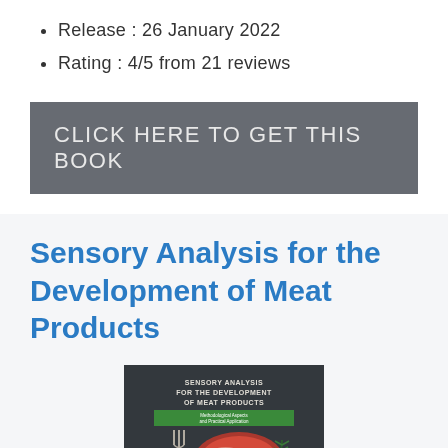Release : 26 January 2022
Rating : 4/5 from 21 reviews
CLICK HERE TO GET THIS BOOK
Sensory Analysis for the Development of Meat Products
[Figure (photo): Book cover of 'Sensory Analysis for the Development of Meat Products' showing meat with herbs on a dark background]